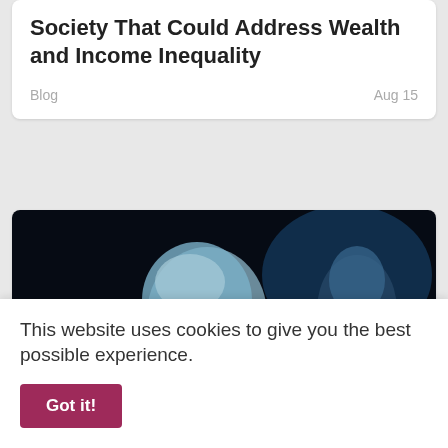Society That Could Address Wealth and Income Inequality
Blog    Aug 15
[Figure (photo): An elderly bald man with a white beard and glasses, lit dramatically with blue lighting, looking downward. Another figure is partially visible in the background also lit with blue light.]
This website uses cookies to give you the best possible experience.
Got it!